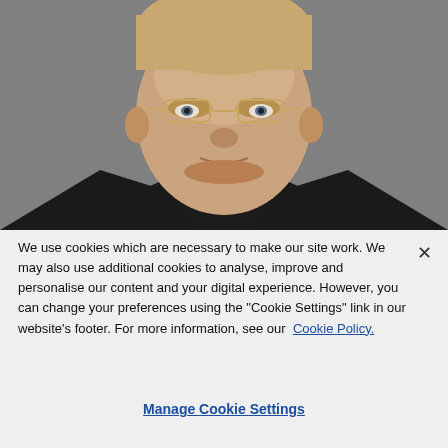[Figure (photo): Professional headshot of a middle-aged man with glasses, short blond hair, wearing a dark suit with white shirt, photographed against a grey background.]
We use cookies which are necessary to make our site work. We may also use additional cookies to analyse, improve and personalise our content and your digital experience. However, you can change your preferences using the "Cookie Settings" link in our website's footer. For more information, see our Cookie Policy.
Manage Cookie Settings